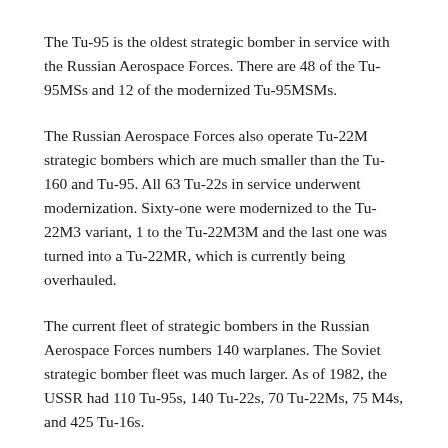The Tu-95 is the oldest strategic bomber in service with the Russian Aerospace Forces. There are 48 of the Tu-95MSs and 12 of the modernized Tu-95MSMs.
The Russian Aerospace Forces also operate Tu-22M strategic bombers which are much smaller than the Tu-160 and Tu-95. All 63 Tu-22s in service underwent modernization. Sixty-one were modernized to the Tu-22M3 variant, 1 to the Tu-22M3M and the last one was turned into a Tu-22MR, which is currently being overhauled.
The current fleet of strategic bombers in the Russian Aerospace Forces numbers 140 warplanes. The Soviet strategic bomber fleet was much larger. As of 1982, the USSR had 110 Tu-95s, 140 Tu-22s, 70 Tu-22Ms, 75 M4s, and 425 Tu-16s.